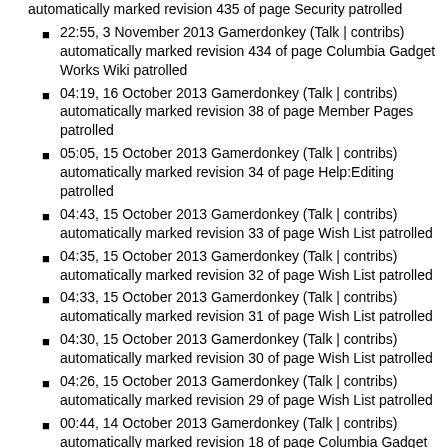automatically marked revision 435 of page Security patrolled
22:55, 3 November 2013 Gamerdonkey (Talk | contribs) automatically marked revision 434 of page Columbia Gadget Works Wiki patrolled
04:19, 16 October 2013 Gamerdonkey (Talk | contribs) automatically marked revision 38 of page Member Pages patrolled
05:05, 15 October 2013 Gamerdonkey (Talk | contribs) automatically marked revision 34 of page Help:Editing patrolled
04:43, 15 October 2013 Gamerdonkey (Talk | contribs) automatically marked revision 33 of page Wish List patrolled
04:35, 15 October 2013 Gamerdonkey (Talk | contribs) automatically marked revision 32 of page Wish List patrolled
04:33, 15 October 2013 Gamerdonkey (Talk | contribs) automatically marked revision 31 of page Wish List patrolled
04:30, 15 October 2013 Gamerdonkey (Talk | contribs) automatically marked revision 30 of page Wish List patrolled
04:26, 15 October 2013 Gamerdonkey (Talk | contribs) automatically marked revision 29 of page Wish List patrolled
00:44, 14 October 2013 Gamerdonkey (Talk | contribs) automatically marked revision 18 of page Columbia Gadget Works Wiki patrolled
00:43, 14 October 2013 Gamerdonkey (Talk | contribs) automatically marked revision 17 of page MediaWiki:Mainpage patrolled